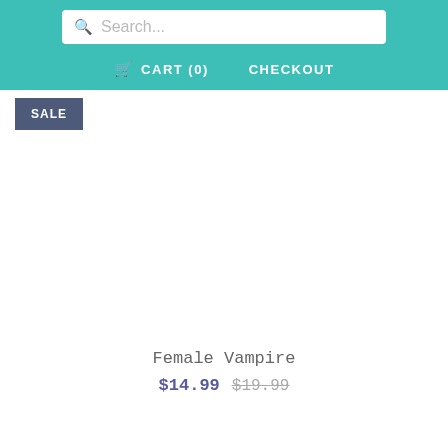Search... CART (0) CHECKOUT
SALE
[Figure (photo): Product image area for Female Vampire costume (white/blank area)]
Female Vampire
$14.99 $19.99